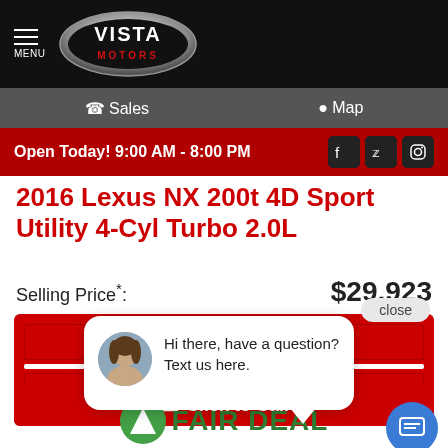[Figure (logo): Vista Motors logo in chrome oval on black background with hamburger menu icon and MENU text]
Sales   Map
Open Today! 9:00 AM - 8:00 PM
2016 Lexus NX 200t 4D Sport Utility 4-Cyl Turbo 2.0L
Selling Price*: $29,923
close
Hi there, have a question? Text us here.
Click to Call
FAIR DEAL